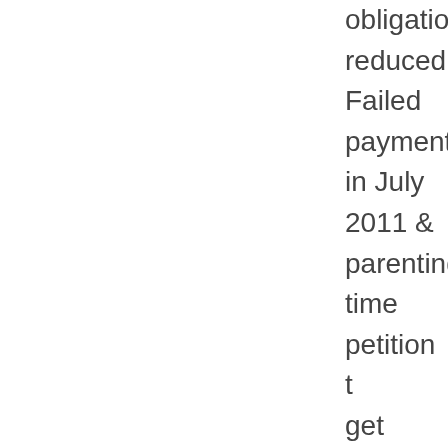obligation reduced. Failed payment in July 2011 & filed parenting time petition to get counseling (seperat recommendation on pa the case was set for an our counsiling finished b report to both the refere evidenciary hearing in C & he was ordered to pa that he didn't recieve nc objection to the ruling u scheduled for January 3 filing it. The judge told h anything since then. I w children. The adoption p attorney. My concern is biological father will not what I have just written, additi